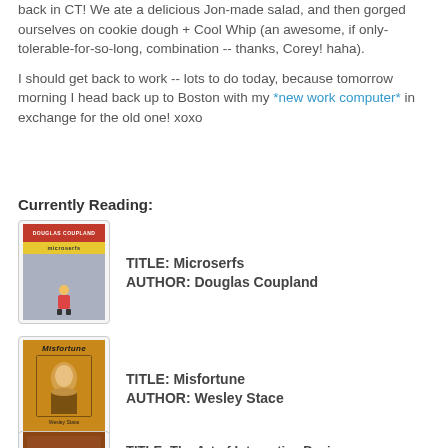back in CT! We ate a delicious Jon-made salad, and then gorged ourselves on cookie dough + Cool Whip (an awesome, if only-tolerable-for-so-long, combination -- thanks, Corey! haha).
I should get back to work -- lots to do today, because tomorrow morning I head back up to Boston with my *new work computer* in exchange for the old one! xoxo
Currently Reading:
[Figure (illustration): Book cover of Microserfs by Douglas Coupland - gray cover with red top stripe, yellow subtitle stripe, and a Simpsons-like figure at bottom]
TITLE: Microserfs
AUTHOR: Douglas Coupland
[Figure (illustration): Book cover of Misfortune by Wesley Stace - orange/yellow cover with portrait painting]
TITLE: Misfortune
AUTHOR: Wesley Stace
[Figure (illustration): Book cover of The Art of Interactive Design - brown/orange cover]
TITLE: The Art of Interactive Design